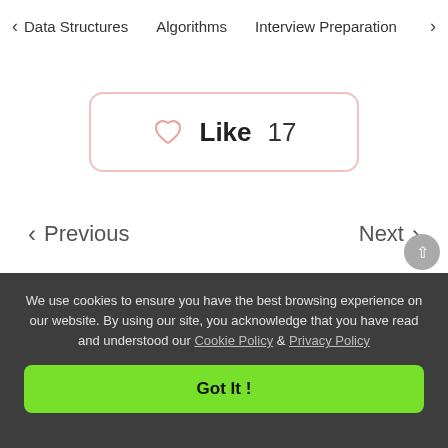< Data Structures   Algorithms   Interview Preparation   To>
[Figure (other): Like button with heart icon showing count of 17, bordered with pink rounded rectangle]
< Previous
Next >
We use cookies to ensure you have the best browsing experience on our website. By using our site, you acknowledge that you have read and understood our Cookie Policy & Privacy Policy
Got It !